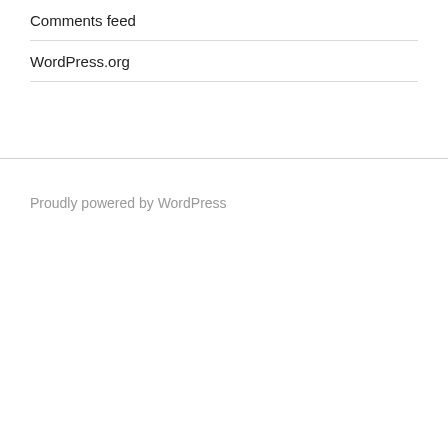Comments feed
WordPress.org
Proudly powered by WordPress